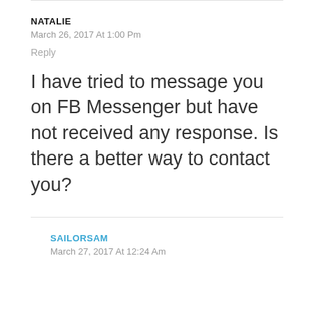NATALIE
March 26, 2017 At 1:00 Pm
Reply
I have tried to message you on FB Messenger but have not received any response. Is there a better way to contact you?
SAILORSAM
March 27, 2017 At 12:24 Am